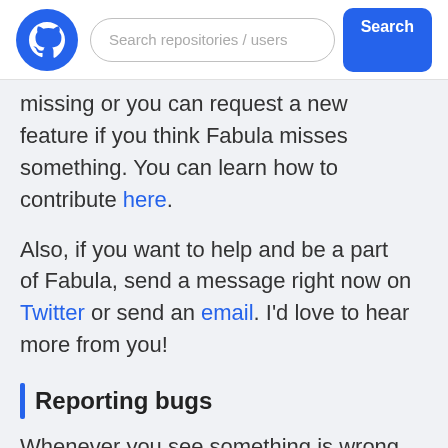Search repositories / users [Search button]
missing or you can request a new feature if you think Fabula misses something. You can learn how to contribute here.
Also, if you want to help and be a part of Fabula, send a message right now on Twitter or send an email. I'd love to hear more from you!
Reporting bugs
Whenever you see something is wrong with Fabula and want to be helpful 🙂, you can check our guide and follow the